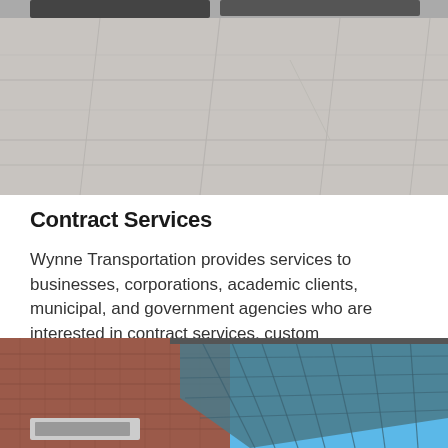[Figure (photo): Aerial or ground-level view of a large concrete plaza or pavement surface with geometric tile/slab patterns, light gray in color. A vehicle is partially visible at the very top edge.]
Contract Services
Wynne Transportation provides services to businesses, corporations, academic clients, municipal, and government agencies who are interested in contract services, custom transportation services, and more.
[Figure (photo): Modern brick and glass building exterior photographed from below, showing angular architectural details with a steel frame/grid glass facade, brick walls, and a bright blue sky in the background. A sign is partially visible at the lower left.]